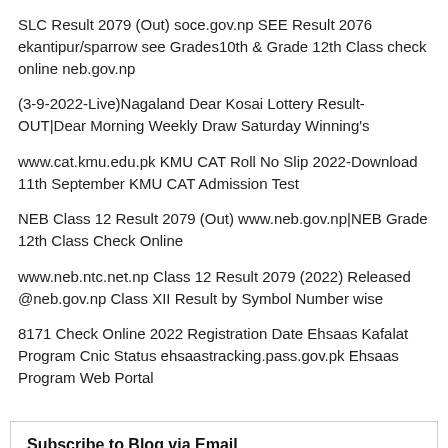SLC Result 2079 (Out) soce.gov.np SEE Result 2076 ekantipur/sparrow see Grades10th & Grade 12th Class check online neb.gov.np
(3-9-2022-Live)Nagaland Dear Kosai Lottery Result-OUT|Dear Morning Weekly Draw Saturday Winning's
www.cat.kmu.edu.pk KMU CAT Roll No Slip 2022-Download 11th September KMU CAT Admission Test
NEB Class 12 Result 2079 (Out) www.neb.gov.np|NEB Grade 12th Class Check Online
www.neb.ntc.net.np Class 12 Result 2079 (2022) Released @neb.gov.np Class XII Result by Symbol Number wise
8171 Check Online 2022 Registration Date Ehsaas Kafalat Program Cnic Status ehsaastracking.pass.gov.pk Ehsaas Program Web Portal
Subscribe to Blog via Email